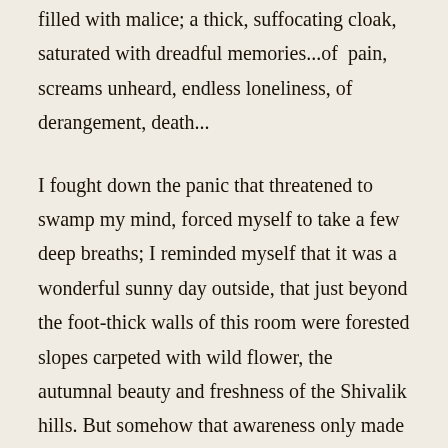filled with malice; a thick, suffocating cloak, saturated with dreadful memories...of pain, screams unheard, endless loneliness, of derangement, death...
I fought down the panic that threatened to swamp my mind, forced myself to take a few deep breaths; I reminded myself that it was a wonderful sunny day outside, that just beyond the foot-thick walls of this room were forested slopes carpeted with wild flower, the autumnal beauty and freshness of the Shivalik hills. But somehow that awareness only made the blackness of the room more intense, more horrific; it was an atrocity in the midst of innocent